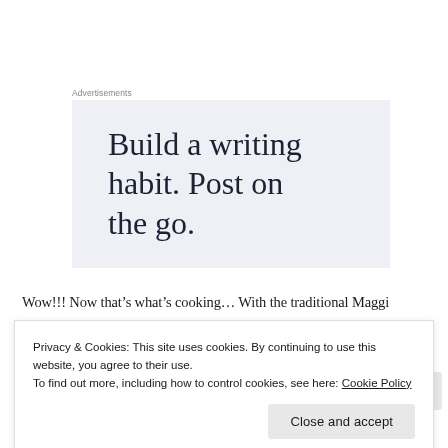Advertisements
[Figure (other): Advertisement box with light blue-grey background. Large serif text reading: Build a writing habit. Post on the go.]
Wow!!! Now that’s what’s cooking... With the traditional Maggi
Privacy & Cookies: This site uses cookies. By continuing to use this website, you agree to their use.
To find out more, including how to control cookies, see here: Cookie Policy
Close and accept